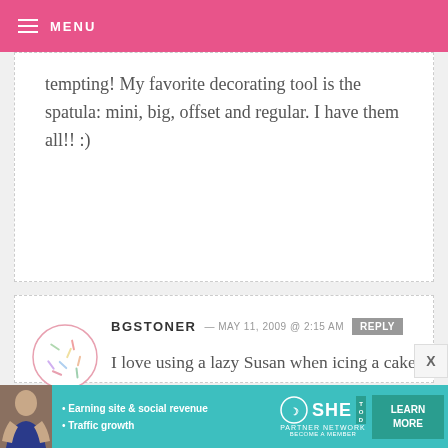MENU
tempting! My favorite decorating tool is the spatula: mini, big, offset and regular. I have them all!! :)
BGSTONER — MAY 11, 2009 @ 2:15 AM REPLY
I love using a lazy Susan when icing a cake.
My husband would ban me from a store like that though, to much temptation.
[Figure (infographic): Advertisement banner for SHE Partner Network with text: Earning site & social revenue, Traffic growth, LEARN MORE button]